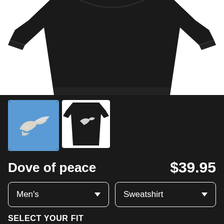[Figure (photo): Black sweatshirt product image on white background, top portion visible showing shoulders and top of garment]
[Figure (photo): Two product thumbnails: first shows white dove on blue sky background (selected), second shows black sweatshirt with white dove print]
Dove of peace
$39.95
Men's (dropdown)
Sweatshirt (dropdown)
SELECT YOUR FIT
$39.95 French Terry
$50.45 Sponge Fleece